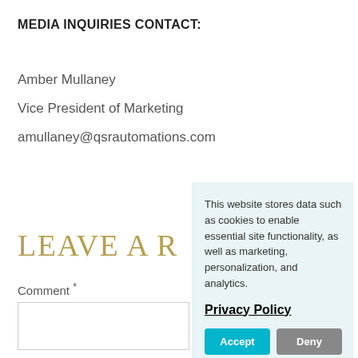MEDIA INQUIRIES CONTACT:
Amber Mullaney
Vice President of Marketing
amullaney@qsrautomations.com
LEAVE A R
Comment *
This website stores data such as cookies to enable essential site functionality, as well as marketing, personalization, and analytics.
Privacy Policy
Accept
Deny